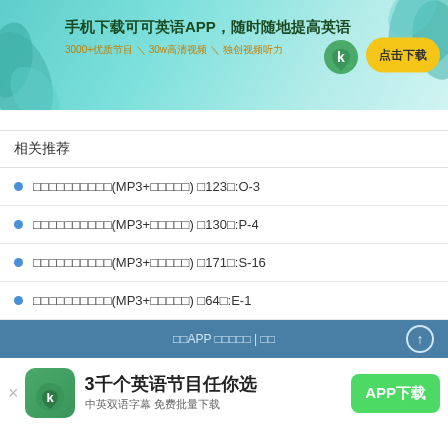[Figure (infographic): App download banner for 可可英语 (Keke English) app. Green/teal background with leaf decorations. Text: 手机下载可可英语APP，随时随地提高英语. Subtitle: 3000+优质节目＼30w高清视频＼独创视频听力. Yellow button: 点击下载]
相关推荐
初中英语单词速记(MP3+视频教程) 共123课:O-3
初中英语单词速记(MP3+视频教程) 共130课:P-4
初中英语单词速记(MP3+视频教程) 共171课:S-16
初中英语单词速记(MP3+视频教程) 共64课:E-1
可可APP 联系我们 | 帮助
[Figure (infographic): App download bottom banner. Logo icon on left, text: 3千个英语节目任你选 中英双语字幕 免费批量下载. Green button: APP下载]